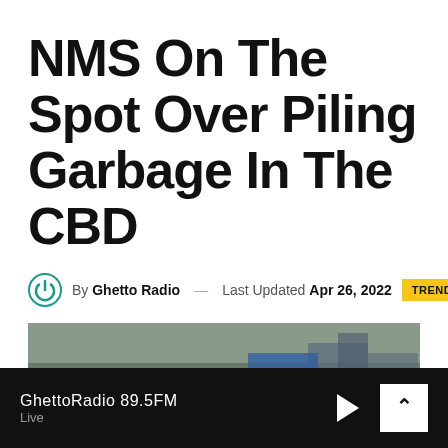NMS On The Spot Over Piling Garbage In The CBD
By Ghetto Radio — Last Updated Apr 26, 2022
TRENDING
[Figure (photo): A large pile of garbage in what appears to be an urban area, with people visible among the refuse and makeshift structures in the background.]
GhettoRadio 89.5FM
Live